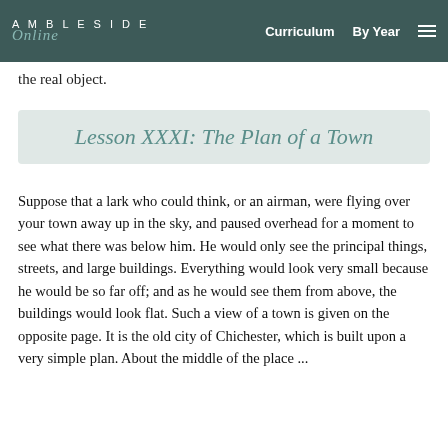AMBLESIDE Online | Curriculum | By Year
the real object.
Lesson XXXI: The Plan of a Town
Suppose that a lark who could think, or an airman, were flying over your town away up in the sky, and paused overhead for a moment to see what there was below him. He would only see the principal things, streets, and large buildings. Everything would look very small because he would be so far off; and as he would see them from above, the buildings would look flat. Such a view of a town is given on the opposite page. It is the old city of Chichester, which is built upon a very simple plan. About the middle of the place ...